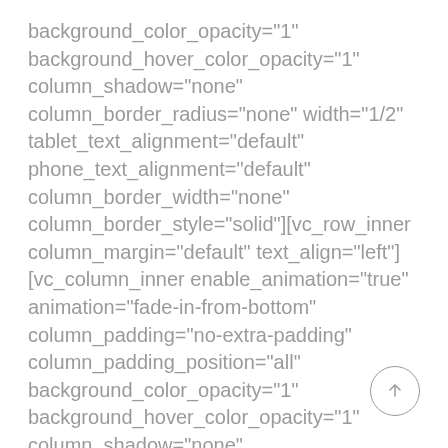background_color_opacity="1" background_hover_color_opacity="1" column_shadow="none" column_border_radius="none" width="1/2" tablet_text_alignment="default" phone_text_alignment="default" column_border_width="none" column_border_style="solid"][vc_row_inner column_margin="default" text_align="left"] [vc_column_inner enable_animation="true" animation="fade-in-from-bottom" column_padding="no-extra-padding" column_padding_position="all" background_color_opacity="1" background_hover_color_opacity="1" column_shadow="none"